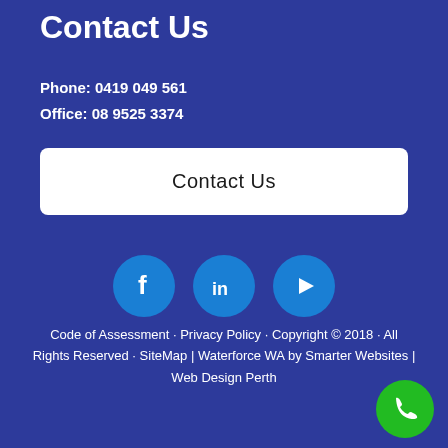Contact Us
Phone: 0419 049 561
Office: 08 9525 3374
Contact Us
[Figure (infographic): Three social media icon circles: Facebook (f), LinkedIn (in), YouTube (play button)]
Code of Assessment · Privacy Policy · Copyright © 2018 · All Rights Reserved · SiteMap | Waterforce WA by Smarter Websites | Web Design Perth